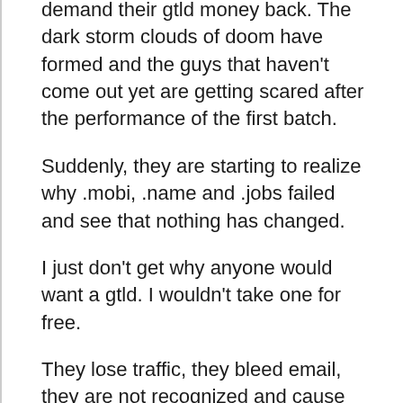demand their gtld money back. The dark storm clouds of doom have formed and the guys that haven't come out yet are getting scared after the performance of the first batch.
Suddenly, they are starting to realize why .mobi, .name and .jobs failed and see that nothing has changed.
I just don't get why anyone would want a gtld. I wouldn't take one for free.
They lose traffic, they bleed email, they are not recognized and cause extreme confusion, they can not be advertised on the radio, they look funny in.print, they sound funny, most are ass.backwards, there will be both singular and plural, the good ones are labeled as premiums, most will accidentally refer to them as .com, ...